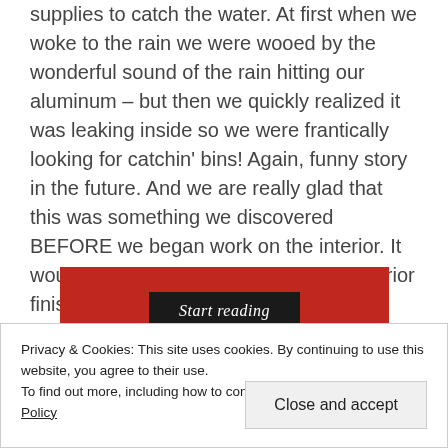supplies to catch the water. At first when we woke to the rain we were wooed by the wonderful sound of the rain hitting our aluminum – but then we quickly realized it was leaking inside so we were frantically looking for catchin' bins! Again, funny story in the future. And we are really glad that this was something we discovered BEFORE we began work on the interior. It would stink to get all of our beautiful interior finished only to discover we have leaky windows.
[Figure (other): Red banner with a dark button labeled 'Start reading' in italic serif font]
Privacy & Cookies: This site uses cookies. By continuing to use this website, you agree to their use.
To find out more, including how to control cookies, see here: Cookie Policy
Close and accept